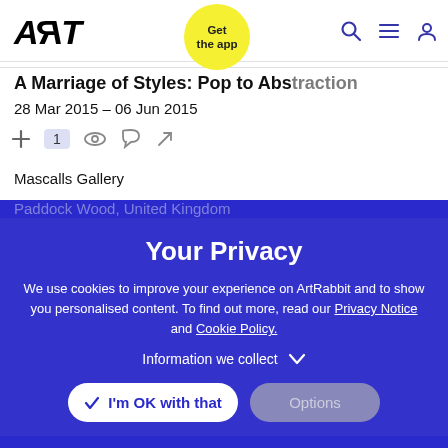ART (logo) — Get the app — Search, Menu, Profile icons
A Marriage of Styles: Pop to Abstraction
28 Mar 2015 – 06 Jun 2015
Mascalls Gallery
Paddock Wood, United Kingdom
Your Privacy
We use cookies to improve your experience on ArtRabbit and to show you personalised content. To find out more, read our Privacy Notice and Cookie Policy.
Information we collect
I'm OK with that
Options